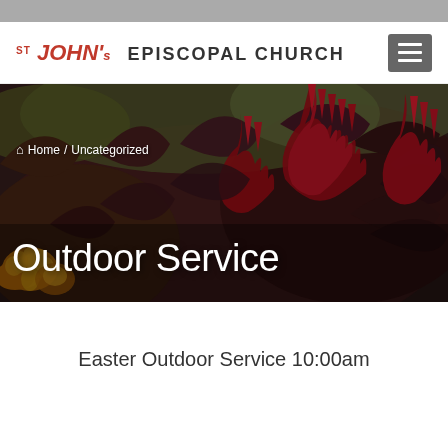St John's Episcopal Church
[Figure (photo): Hero banner photograph of deep red celosia flowers with dark foliage and yellow flowers at left edge. White text overlay shows breadcrumb navigation (Home / Uncategorized) and page title 'Outdoor Service'.]
Easter Outdoor Service 10:00am